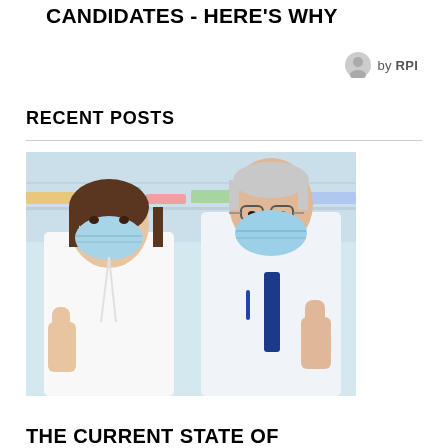CANDIDATES - HERE'S WHY
by RPI
RECENT POSTS
[Figure (photo): Two pharmacists or healthcare workers in white lab coats and blue surgical masks, both giving thumbs up, standing in a pharmacy setting with shelves of products in the background.]
THE CURRENT STATE OF